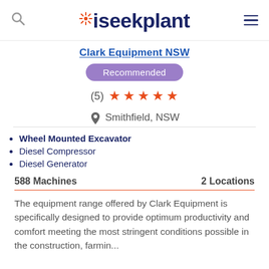iseekplant
Clark Equipment NSW
Recommended
(5) ★ ★ ★ ★ ★
Smithfield, NSW
Wheel Mounted Excavator
Diesel Compressor
Diesel Generator
588 Machines    2 Locations
The equipment range offered by Clark Equipment is specifically designed to provide optimum productivity and comfort meeting the most stringent conditions possible in the construction, farmin...